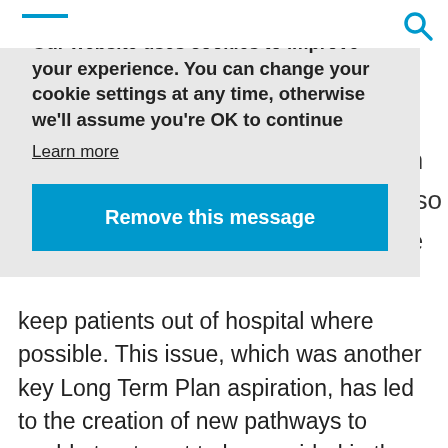[Figure (screenshot): Cookie consent banner overlay on a medical/NHS website. The banner has a light grey background and contains bold text reading 'Our website uses cookies to improve your experience. You can change your cookie settings at any time, otherwise we’ll assume you’re OK to continue', a 'Learn more' underlined link, and a blue 'Remove this message' button.]
keep patients out of hospital where possible. This issue, which was another key Long Term Plan aspiration, has led to the creation of new pathways to enable treatment to be provided in the community or at home. The changes began back in March when new guidance